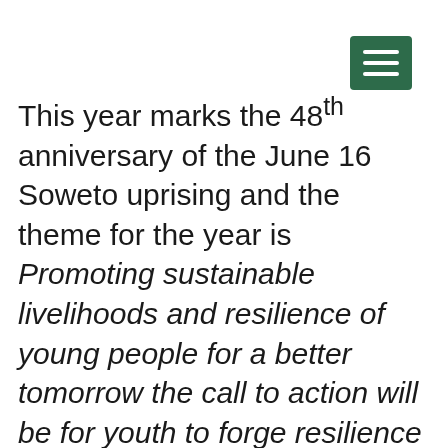[Figure (other): Green hamburger menu icon button in top right corner]
This year marks the 48th anniversary of the June 16 Soweto uprising and the theme for the year is Promoting sustainable livelihoods and resilience of young people for a better tomorrow the call to action will be for youth to forge resilience and pursue opportunities for a sustainable livelihood, today and in the future.
As we reflect on Youth Day it is important to note the victories that we have